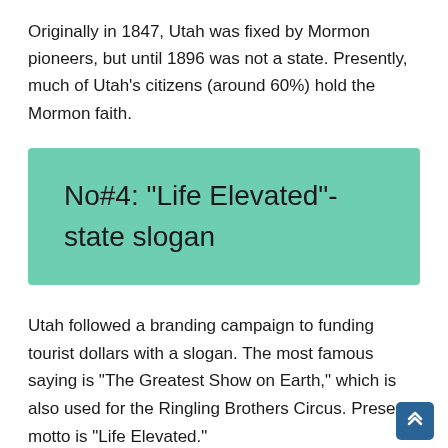Originally in 1847, Utah was fixed by Mormon pioneers, but until 1896 was not a state. Presently, much of Utah’s citizens (around 60%) hold the Mormon faith.
No#4: “Life Elevated”- state slogan
Utah followed a branding campaign to funding tourist dollars with a slogan. The most famous saying is “The Greatest Show on Earth,” which is also used for the Ringling Brothers Circus. Present motto is “Life Elevated.”